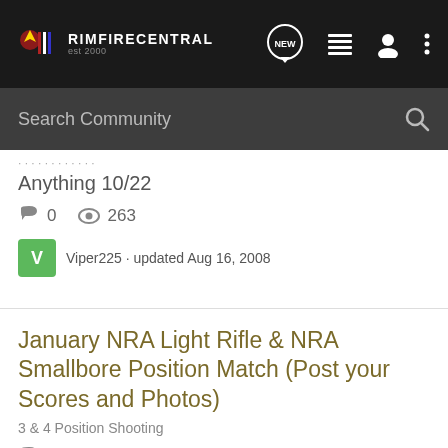RIMFIRECENTRAL est 2000
Search Community
Anything 10/22
0   263
Viper225 · updated Aug 16, 2008
January NRA Light Rifle & NRA Smallbore Position Match (Post your Scores and Photos)
3 & 4 Position Shooting
31   2K
23's Dad · updated Feb 1, 2011
Rimfire
[Figure (screenshot): KEL-TEC advertisement banner: SEEKING LONG RANGE RELATIONSHIP - THE CP33 PISTOL, showing a handgun on dark blue background]